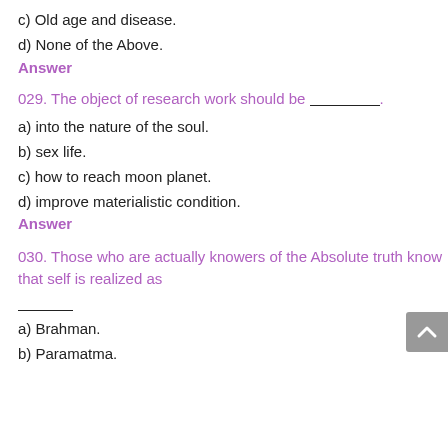c) Old age and disease.
d) None of the Above.
Answer
029. The object of research work should be __________.
a) into the nature of the soul.
b) sex life.
c) how to reach moon planet.
d) improve materialistic condition.
Answer
030. Those who are actually knowers of the Absolute truth know that self is realized as __________.
a) Brahman.
b) Paramatma.